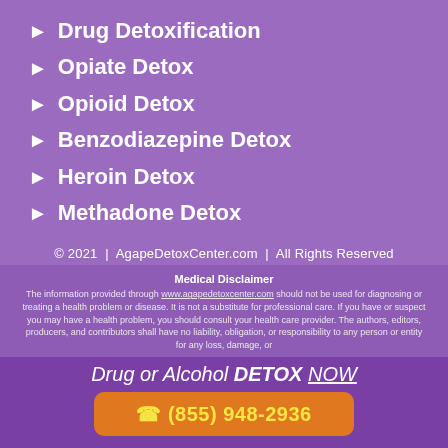Drug Detoxification
Opiate Detox
Opioid Detox
Benzodiazepine Detox
Heroin Detox
Methadone Detox
© 2021 | AgapeDetoxCenter.com | All Rights Reserved
Medical Disclaimer
The information provided through www.agapedetoxcenter.com should not be used for diagnosing or treating a health problem or disease. It is not a substitute for professional care. If you have or suspect you may have a health problem, you should consult your health care provider. The authors, editors, producers, and contributors shall have no liability, obligation, or responsibility to any person or entity for any loss, damage, or
Drug or Alcohol DETOX NOW
(855) 948-2936